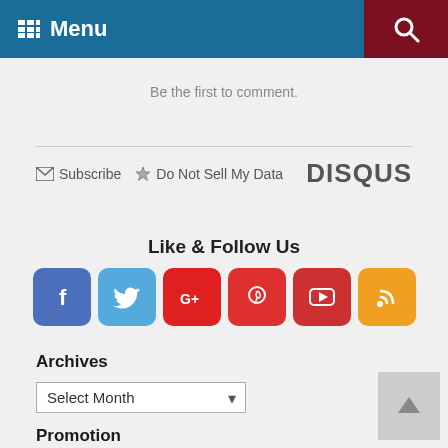Menu
Be the first to comment.
Subscribe  Do Not Sell My Data  DISQUS
Like & Follow Us
[Figure (infographic): Social media icons: Facebook, Twitter, Google+, Pinterest, YouTube, RSS feed]
Archives
Select Month
Promotion